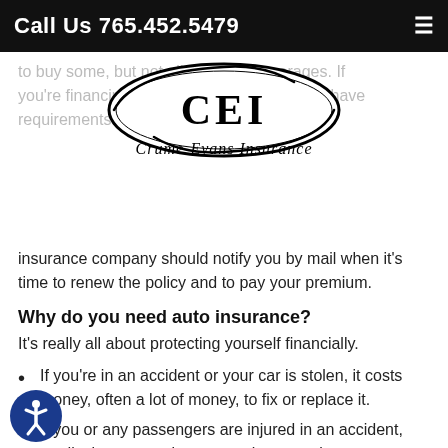Call Us 765.452.5479
[Figure (logo): Crume-Evans Insurance (CEI) logo — oval shape with 'CEI' in large serif letters and 'Crume-Evans Insurance' in script below]
to buy some, but not all, of these coverages. If you're financing a car, your lender may also have requirements.
Most auto policies are written for six months or a year. Your insurance company should notify you by mail when it's time to renew the policy and to pay your premium.
Why do you need auto insurance?
It's really all about protecting yourself financially.
If you're in an accident or your car is stolen, it costs money, often a lot of money, to fix or replace it.
If you or any passengers are injured in an accident, medical costs can be extremely expensive.
If you or your car is responsible for damage or injury to others, you may be sued for much...